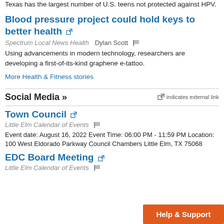Texas has the largest number of U.S. teens not protected against HPV.
Blood pressure project could hold keys to better health
Spectrum Local News Health   Dylan Scott
Using advancements in modern technology, researchers are developing a first-of-its-kind graphene e-tattoo.
More Health & Fitness stories
Social Media »
Town Council
Little Elm Calendar of Events
Event date: August 16, 2022 Event Time: 06:00 PM - 11:59 PM Location: 100 West Eldorado Parkway Council Chambers Little Elm, TX 75068
EDC Board Meeting
Little Elm Calendar of Events